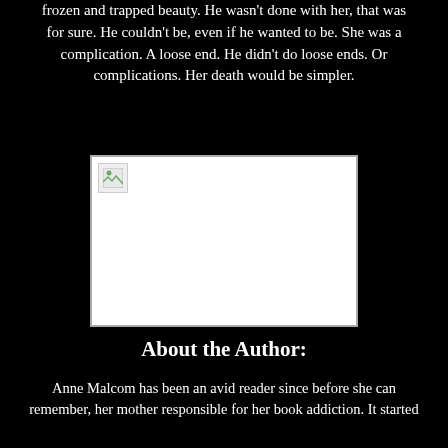frozen and trapped beauty. He wasn't done with her, that was for sure. He couldn't be, even if he wanted to be. She was a complication. A loose end. He didn't do loose ends. Or complications. Her death would be simpler.
[Figure (photo): A broken/missing image placeholder shown as a white rectangle with a small broken image icon in the upper left corner.]
About the Author:
Anne Malcom has been an avid reader since before she can remember, her mother responsible for her book addiction. It started